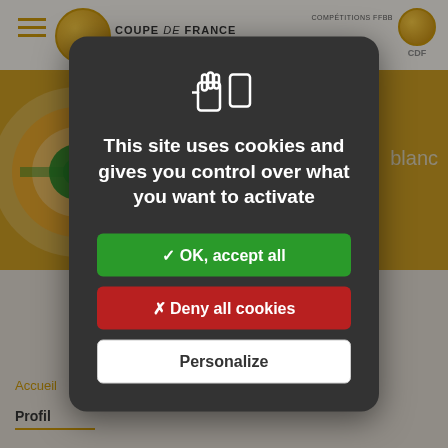[Figure (screenshot): Background showing Coupe de France basketball website with orange and gray sections, logo, navigation header, and partial page content]
This site uses cookies and gives you control over what you want to activate
✓ OK, accept all
✗ Deny all cookies
Personalize